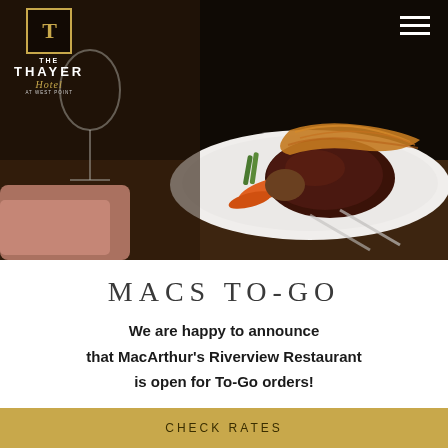[Figure (photo): Restaurant food photo showing a plate with grilled steak topped with crispy noodles, carrots, asparagus and other vegetables, with wine glasses and silverware visible. Dark moody restaurant ambiance.]
[Figure (logo): The Thayer Hotel at West Point logo with gold crest and white lettering]
MACS TO-GO
We are happy to announce that MacArthur's Riverview Restaurant is open for To-Go orders!
CHECK RATES